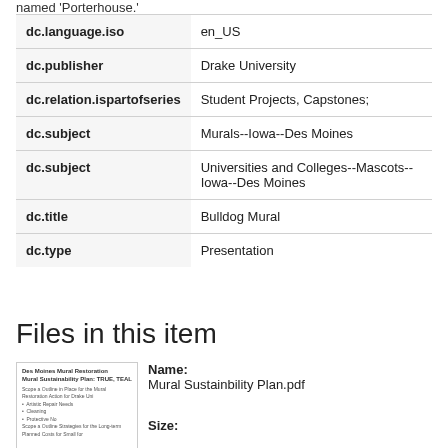named 'Porterhouse.'
| Field | Value |
| --- | --- |
| dc.language.iso | en_US |
| dc.publisher | Drake University |
| dc.relation.ispartofseries | Student Projects, Capstones; |
| dc.subject | Murals--Iowa--Des Moines |
| dc.subject | Universities and Colleges--Mascots--Iowa--Des Moines |
| dc.title | Bulldog Mural |
| dc.type | Presentation |
Files in this item
[Figure (other): Thumbnail preview of PDF document]
Name: Mural Sustainbility Plan.pdf
Size: